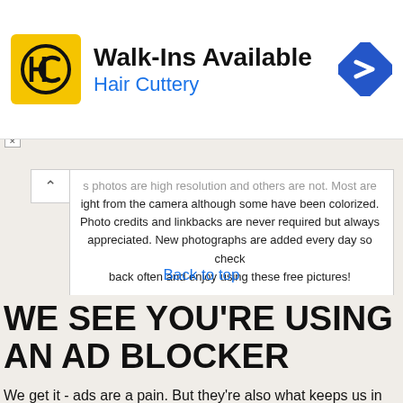[Figure (infographic): Hair Cuttery advertisement banner: yellow square logo with HC letters, 'Walk-Ins Available' title, 'Hair Cuttery' subtitle in blue, and a blue diamond-shaped map marker icon on the right.]
s photos are high resolution and others are not. Most are light from the camera although some have been colorized. Photo credits and linkbacks are never required but always appreciated. New photographs are added every day so check back often and enjoy using these free pictures!
Back to top
WE SEE YOU'RE USING AN AD BLOCKER
We get it - ads are a pain. But they're also what keeps us in business. Please consider adding us to your whitelist so we can continue to bring you these free photos. Thanks so much for using our site!
Close